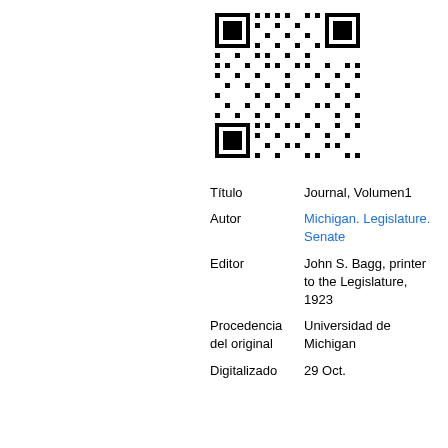[Figure (other): QR code image in black and white]
| Título | Journal, Volumen1 |
| Autor | Michigan. Legislature. Senate |
| Editor | John S. Bagg, printer to the Legislature, 1923 |
| Procedencia del original | Universidad de Michigan |
| Digitalizado | 29 Oct. |